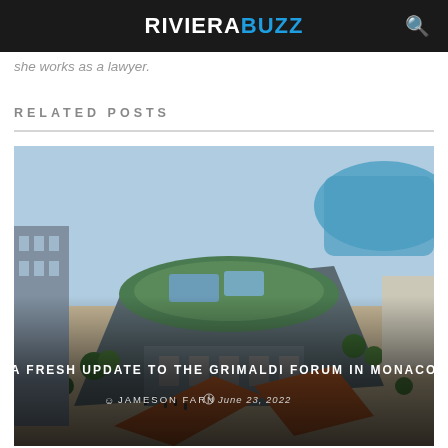RIVIERABUZZ
she works as a lawyer.
RELATED POSTS
[Figure (photo): Aerial architectural rendering of the Grimaldi Forum in Monaco, showing a large modern building with green roof terrace, surrounded by trees and waterfront]
A FRESH UPDATE TO THE GRIMALDI FORUM IN MONACO
JAMESON FARN   June 23, 2022